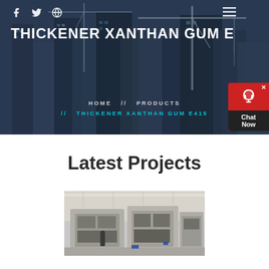THICKENER XANTHAN GUM E415
HOME // PRODUCTS // THICKENER XANTHAN GUM E415
Latest Projects
[Figure (photo): Industrial machinery/equipment photo showing construction or processing equipment inside a facility]